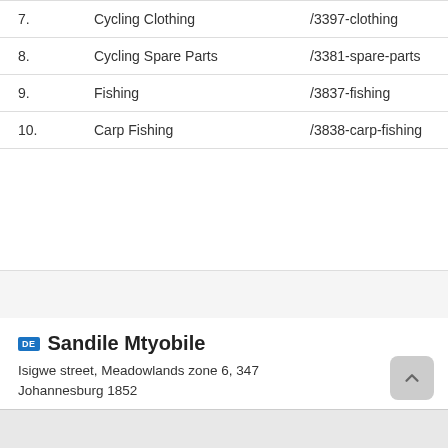| # | Name | URL |
| --- | --- | --- |
| 7. | Cycling Clothing | /3397-clothing |
| 8. | Cycling Spare Parts | /3381-spare-parts |
| 9. | Fishing | /3837-fishing |
| 10. | Carp Fishing | /3838-carp-fishing |
Sandile Mtyobile
Isigwe street, Meadowlands zone 6, 347
Johannesburg 1852
+825348568